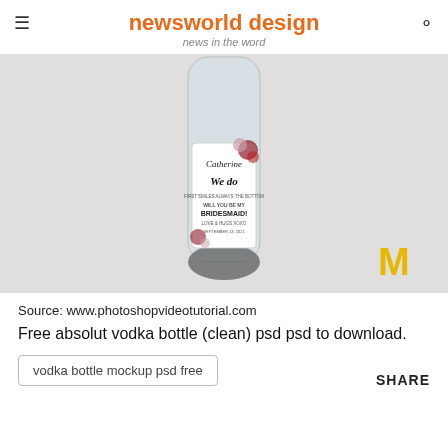newsworld design
news in the word
[Figure (photo): A clear glass vodka bottle with a custom wedding label reading 'Catherine', 'We Do', and 'Will You Be My Bridesmaid?' with floral decorations. A yellow letter M watermark is visible in the bottom right corner.]
Source: www.photoshopvideotutorial.com
Free absolut vodka bottle (clean) psd psd to download.
vodka bottle mockup psd free
SHARE